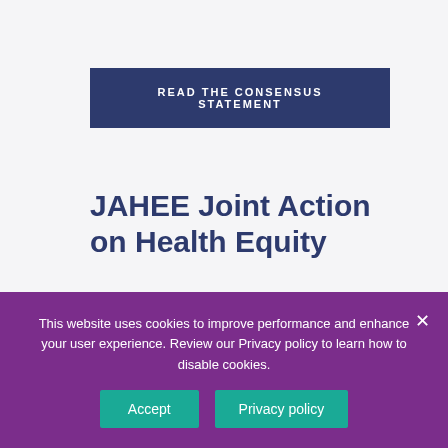READ THE CONSENSUS STATEMENT
JAHEE Joint Action on Health Equity
The Joint Action Health Equity
This website uses cookies to improve performance and enhance your user experience. Review our Privacy policy to learn how to disable cookies.
Accept
Privacy policy